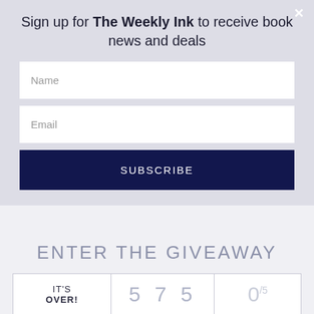Sign up for The Weekly Ink to receive book news and deals
[Figure (screenshot): Form with Name field, Email field, and SUBSCRIBE button on a light grey background]
ENTER THE GIVEAWAY
| IT'S OVER! | 5 7 5 | 0/5 |